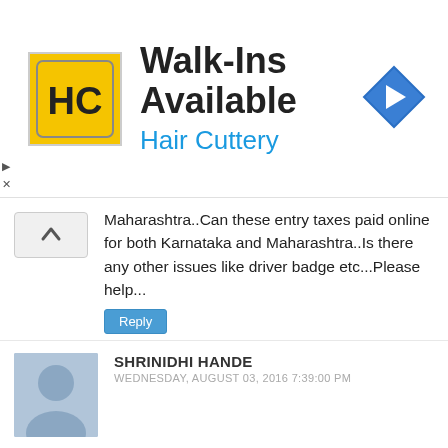[Figure (logo): Hair Cuttery advertisement banner with HC logo, Walk-Ins Available text, Hair Cuttery subtitle, and a blue navigation arrow icon]
Maharashtra..Can these entry taxes paid online for both Karnataka and Maharashtra..Is there any other issues like driver badge etc...Please help...
Reply
SHRINIDHI HANDE
WEDNESDAY, AUGUST 03, 2016 7:39:00 PM
@Anon- I paid only Rs 150 for Scorpio at Kerala border. Amount should be similar for Innova as well, may be another 50-100 more if there is some increase, certainly NOT Rs 6000, which is a rip off.
Inform operator that you will be happy to pay the amount as per receipt at the interstate border- once driver shows the receipt pay that amount. Nothing extra, nothing less, else try booking self drive or with some other operator